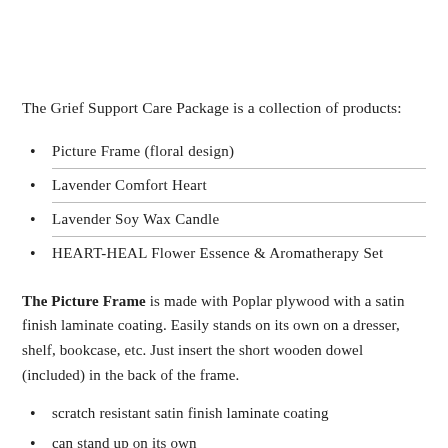The Grief Support Care Package is a collection of products:
Picture Frame (floral design)
Lavender Comfort Heart
Lavender Soy Wax Candle
HEART-HEAL Flower Essence & Aromatherapy Set
The Picture Frame is made with Poplar plywood with a satin finish laminate coating. Easily stands on its own on a dresser, shelf, bookcase, etc. Just insert the short wooden dowel (included) in the back of the frame.
scratch resistant satin finish laminate coating
can stand up on its own
DOES NOT include a glass photo cover